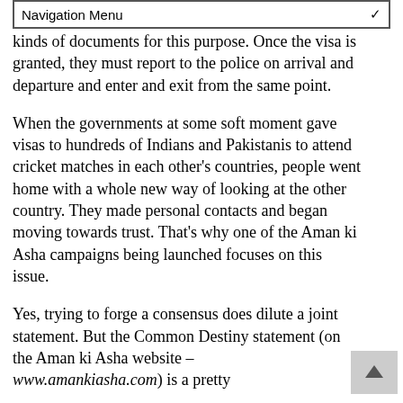Navigation Menu
kinds of documents for this purpose. Once the visa is granted, they must report to the police on arrival and departure and enter and exit from the same point.
When the governments at some soft moment gave visas to hundreds of Indians and Pakistanis to attend cricket matches in each other's countries, people went home with a whole new way of looking at the other country. They made personal contacts and began moving towards trust. That's why one of the Aman ki Asha campaigns being launched focuses on this issue.
Yes, trying to forge a consensus does dilute a joint statement. But the Common Destiny statement (on the Aman ki Asha website – www.amankiasha.com) is a pretty